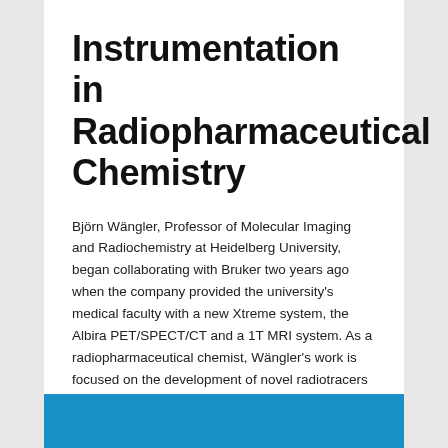Instrumentation in Radiopharmaceutical Chemistry
Björn Wängler, Professor of Molecular Imaging and Radiochemistry at Heidelberg University, began collaborating with Bruker two years ago when the company provided the university's medical faculty with a new Xtreme system, the Albira PET/SPECT/CT and a 1T MRI system. As a radiopharmaceutical chemist, Wängler's work is focused on the development of novel radiotracers for diagnosis or therapy that can be used directly in the clinical setting.
^